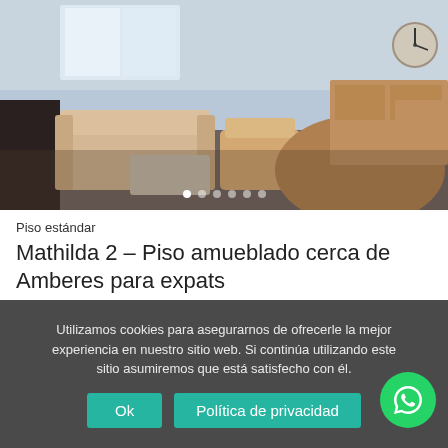[Figure (photo): Interior photo of a furnished apartment showing a living room with leather sofa, coffee table, round dining table, wooden sideboard, and a wall clock. Image carousel with 6 navigation dots visible at bottom.]
Piso estándar
Mathilda 2 – Piso amueblado cerca de Amberes para expats
4 personas  2 habitaciones  PRECIO MEDIO
Utilizamos cookies para asegurarnos de ofrecerle la mejor experiencia en nuestro sitio web. Si continúa utilizando este sitio asumiremos que está satisfecho con él.
Ok   Política de privacidad